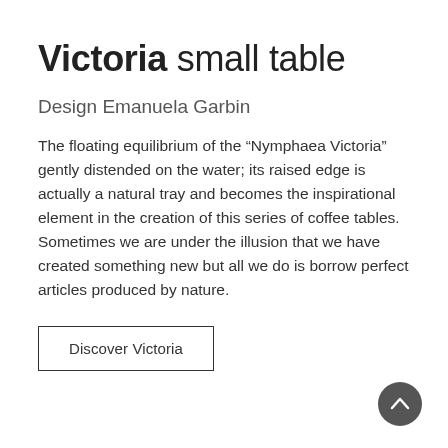Victoria small table
Design Emanuela Garbin
The floating equilibrium of the “Nymphaea Victoria” gently distended on the water; its raised edge is actually a natural tray and becomes the inspirational element in the creation of this series of coffee tables. Sometimes we are under the illusion that we have created something new but all we do is borrow perfect articles produced by nature.
Discover Victoria
[Figure (other): Circular dark grey button with upward-pointing chevron arrow, positioned at bottom right]